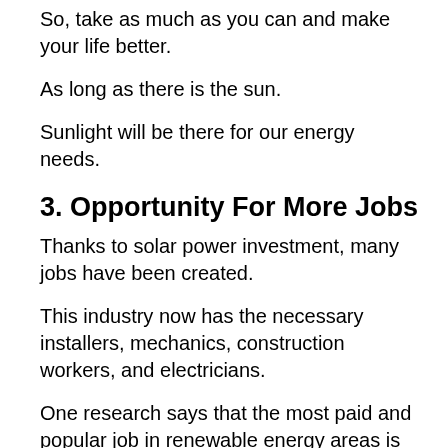So, take as much as you can and make your life better.
As long as there is the sun.
Sunlight will be there for our energy needs.
3. Opportunity For More Jobs
Thanks to solar power investment, many jobs have been created.
This industry now has the necessary installers, mechanics, construction workers, and electricians.
One research says that the most paid and popular job in renewable energy areas is in wind energy jobs.